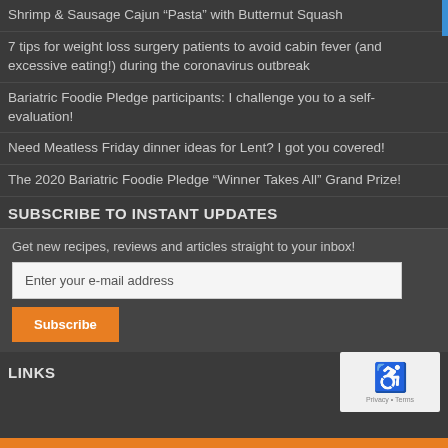Shrimp & Sausage Cajun “Pasta” with Butternut Squash
7 tips for weight loss surgery patients to avoid cabin fever (and excessive eating!) during the coronavirus outbreak
Bariatric Foodie Pledge participants: I challenge you to a self-evaluation!
Need Meatless Friday dinner ideas for Lent? I got you covered!
The 2020 Bariatric Foodie Pledge “Winner Takes All” Grand Prize!
SUBSCRIBE TO INSTANT UPDATES
Get new recipes, reviews and articles straight to your inbox!
LINKS